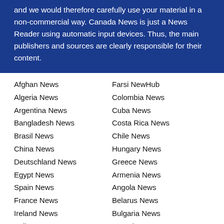and we would therefore carefully use your material in a non-commercial way. Canada News is just a News Reader using automatic input devices. Thus, the main publishers and sources are clearly responsible for their content.
Afghan News
Algeria News
Argentina News
Bangladesh News
Brasil News
China News
Deutschland News
Egypt News
Spain News
France News
Ireland News
India News
Indonesia News
Iraq News
Italy News
Japan News
Jordan News
Farsi NewHub
Colombia News
Cuba News
Costa Rica News
Chile News
Hungary News
Greece News
Armenia News
Angola News
Belarus News
Bulgaria News
Canada News
Czech News
Kazakhstan News
Ukraine News
Romania News
Kenya News